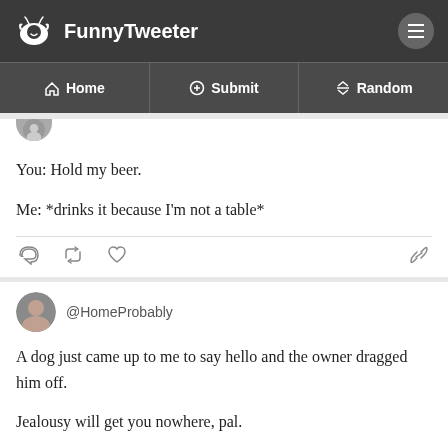FunnyTweeter
Home | Submit | Random
You: Hold my beer.

Me: *drinks it because I'm not a table*
@HomeProbably

A dog just came up to me to say hello and the owner dragged him off.

Jealousy will get you nowhere, pal.